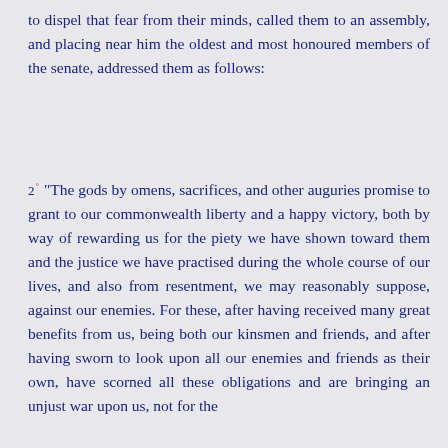to dispel that fear from their minds, called them to an assembly, and placing near him the oldest and most honoured members of the senate, addressed them as follows:
2 ° "The gods by omens, sacrifices, and other auguries promise to grant to our commonwealth liberty and a happy victory, both by way of rewarding us for the piety we have shown toward them and the justice we have practised during the whole course of our lives, and also from resentment, we may reasonably suppose, against our enemies. For these, after having received many great benefits from us, being both our kinsmen and friends, and after having sworn to look upon all our enemies and friends as their own, have scorned all these obligations and are bringing an unjust war upon us, not for the